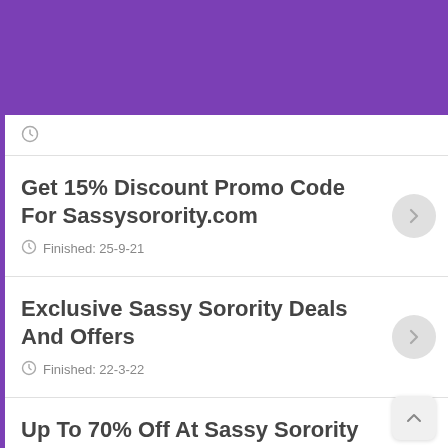[Figure (screenshot): Purple header banner at top of page]
Get 15% Discount Promo Code For Sassysorority.com
Finished: 25-9-21
Exclusive Sassy Sorority Deals And Offers
Finished: 22-3-22
Up To 70% Off At Sassy Sorority